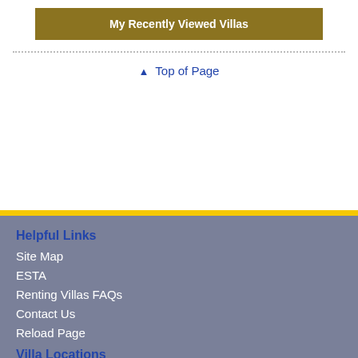My Recently Viewed Villas
▲ Top of Page
Helpful Links
Site Map
ESTA
Renting Villas FAQs
Contact Us
Reload Page
Villa Locations